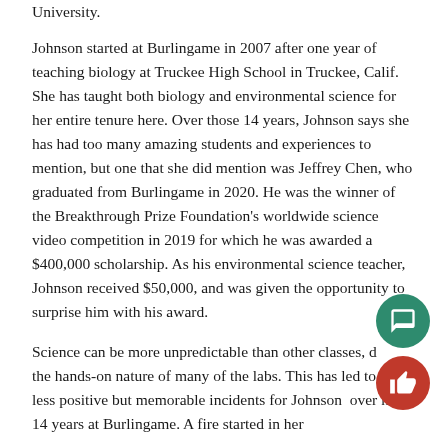University.
Johnson started at Burlingame in 2007 after one year of teaching biology at Truckee High School in Truckee, Calif. She has taught both biology and environmental science for her entire tenure here. Over those 14 years, Johnson says she has had too many amazing students and experiences to mention, but one that she did mention was Jeffrey Chen, who graduated from Burlingame in 2020. He was the winner of the Breakthrough Prize Foundation's worldwide science video competition in 2019 for which he was awarded a $400,000 scholarship. As his environmental science teacher, Johnson received $50,000, and was given the opportunity to surprise him with his award.
Science can be more unpredictable than other classes, due to the hands-on nature of many of the labs. This has led to some less positive but memorable incidents for Johnson over her 14 years at Burlingame. A fire started in her